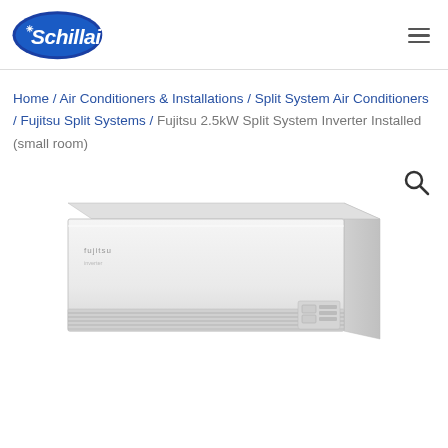Schillair [logo] / hamburger menu
Home / Air Conditioners & Installations / Split System Air Conditioners / Fujitsu Split Systems / Fujitsu 2.5kW Split System Inverter Installed (small room)
[Figure (photo): Fujitsu 2.5kW wall-mounted split system air conditioner unit, white, rectangular, shown from a slight angle. Has a search/zoom icon in top right corner of the image area.]